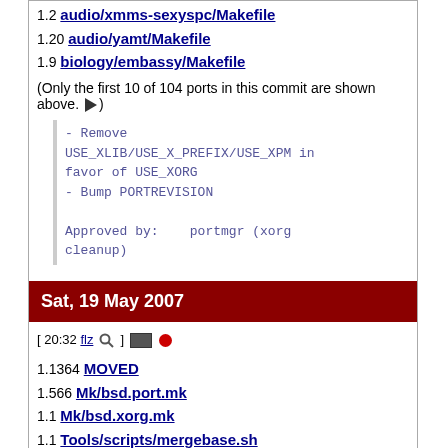1.2 audio/xmms-sexyspc/Makefile
1.20 audio/yamt/Makefile
1.9 biology/embassy/Makefile
(Only the first 10 of 104 ports in this commit are shown above. ►)
- Remove USE_XLIB/USE_X_PREFIX/USE_XPM in favor of USE_XORG
- Bump PORTREVISION

Approved by:    portmgr (xorg cleanup)
Sat, 19 May 2007
[ 20:32 flz 🔍 ] ▣ ●
1.1364 MOVED
1.566 Mk/bsd.port.mk
1.1 Mk/bsd.xorg.mk
1.1 Tools/scripts/mergebase.sh
1.502 UPDATING
1.2 accessibility/at-poke/Makefile
1.60 accessibility/at-spi/Makefile
1.29 accessibility/at-spi/pkg-plist
1.51 accessibility/atk/Makefile